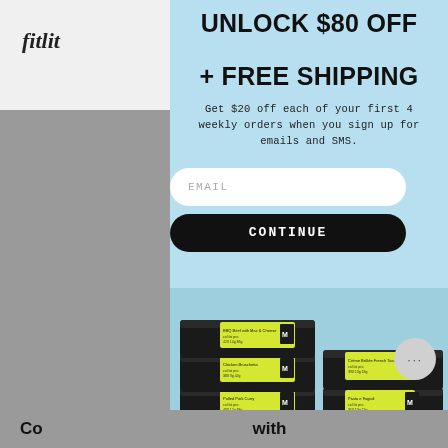fitlit
UNLOCK $80 OFF + FREE SHIPPING
Get $20 off each of your first 4 weekly orders when you sign up for emails and SMS.
EMAIL
CONTINUE
[Figure (photo): Stacked black meal prep containers with yellow/green nutrition labels marked with M, showing various meal options including BBQ Beef with Mac & Cheese, Chicken Bruschetta, Pulled Pork Curry, Crème Brûlée French Toast, Pasta e Fagioli, and other meals]
Co